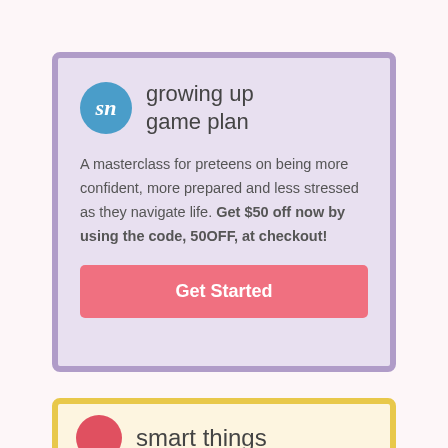[Figure (logo): Growing Up Game Plan logo — blue circle with cursive 'sn' initials beside the brand name 'growing up game plan']
A masterclass for preteens on being more confident, more prepared and less stressed as they navigate life. Get $50 off now by using the code, 50OFF, at checkout!
Get Started
[Figure (logo): Smart Things logo — red circle with white icon, partially visible at page bottom with yellow border card]
smart things